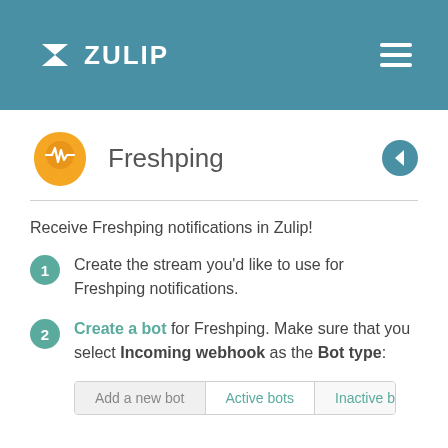ZULIP
Freshping
Receive Freshping notifications in Zulip!
Create the stream you'd like to use for Freshping notifications.
Create a bot for Freshping. Make sure that you select Incoming webhook as the Bot type:
[Figure (screenshot): Bot management tab bar showing: Add a new bot | Active bots | Inactive bots]